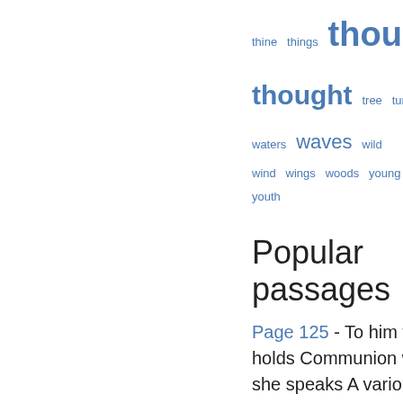thine things thou thought tree turn voice waters waves wild wind wings woods young youth
Popular passages
Page 125 - To him who in the love of Nature holds Communion with her visible forms, she speaks A various language ; for his gayer hours She has a voice of gladness, and a smile And eloquence of beauty, and she glides Into his darker musings, with a mild And healing